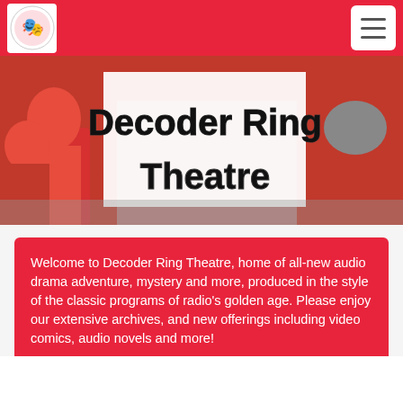Decoder Ring Theatre navigation bar with logo and menu button
[Figure (illustration): Comic book style hero banner illustration with red, white, and dark tones showing masked/costumed characters]
Decoder Ring Theatre
Welcome to Decoder Ring Theatre, home of all-new audio drama adventure, mystery and more, produced in the style of the classic programs of radio's golden age. Please enjoy our extensive archives, and new offerings including video comics, audio novels and more!
[Figure (infographic): Four social media icon buttons: Facebook (f), Twitter bird, RSS feed, and podcast/audio icon]
All Episodes  /  2021